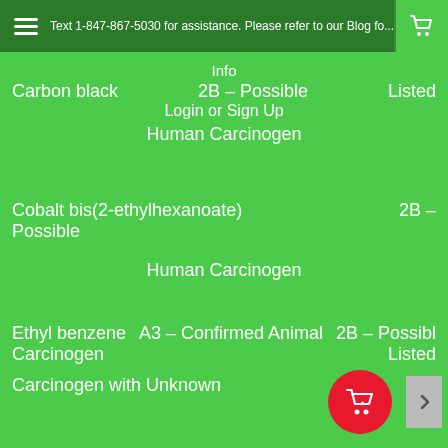Text 1-847-867-5030 for assistance. Please refer to our Blog for... Dela...
| Info |  |  |
| --- | --- | --- |
| Carbon black | 2B – Possible | Listed |
|  | Login or Sign Up |  |
|  | Human Carcinogen |  |
| Cobalt bis(2-ethylhexanoate) | 2B – Possible |  |
|  | Human Carcinogen |  |
| Ethyl benzene | A3 – Confirmed Animal Carcinogen | 2B – Possible Listed |
| Carcinogen with Unknown |  |  |